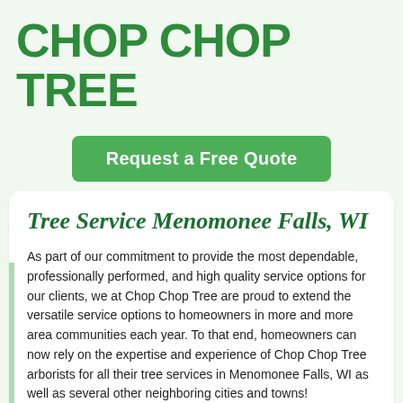CHOP CHOP TREE
Request a Free Quote
Tree Service Menomonee Falls, WI
As part of our commitment to provide the most dependable, professionally performed, and high quality service options for our clients, we at Chop Chop Tree are proud to extend the versatile service options to homeowners in more and more area communities each year. To that end, homeowners can now rely on the expertise and experience of Chop Chop Tree arborists for all their tree services in Menomonee Falls, WI as well as several other neighboring cities and towns!
This means that whatever unique plan you may have in mind for your home's landscaping and trees, our team of highly